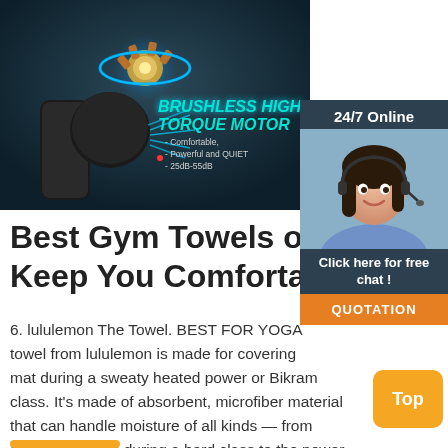[Figure (photo): Product photo of a brushless high torque motor massage gun device on dark blue-grey background, with text 'BRUSHLESS HIGH TORQUE MOTOR', '- Comfortable, - Powerful and QUIET, - 25dB-55dB']
[Figure (photo): Chat widget showing '24/7 Online', a customer service representative (woman with headset), 'Click here for free chat!', and an orange QUOTATION button]
Best Gym Towels of 202... Keep You Comfortable a...
6. lululemon The Towel. BEST FOR YOGA... towel from lululemon is made for covering... mat during a sweaty heated power or Bikram class. It's made of absorbent, microfiber material that can handle moisture of all kinds — from sweat and tears during a hard class to the power-... session shower before you head to the office.
[Figure (other): Orange 'Top' button at bottom right]
[Figure (other): Orange horizontal bar at bottom left (partially visible)]